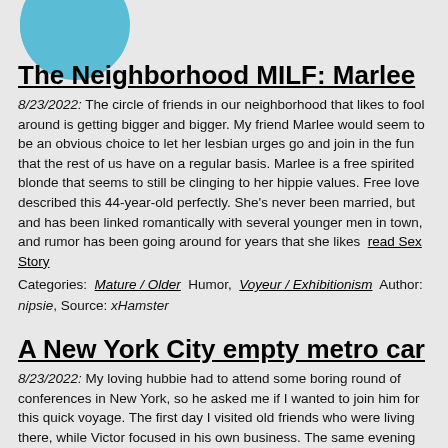[Figure (illustration): Teal/blue circle partially visible at top left corner of page]
The Neighborhood MILF: Marlee
8/23/2022: The circle of friends in our neighborhood that likes to fool around is getting bigger and bigger. My friend Marlee would seem to be an obvious choice to let her lesbian urges go and join in the fun that the rest of us have on a regular basis. Marlee is a free spirited blonde that seems to still be clinging to her hippie values. Free love described this 44-year-old perfectly. She's never been married, but and has been linked romantically with several younger men in town, and rumor has been going around for years that she likes  read Sex Story
Categories:  Mature / Older  Humor,  Voyeur / Exhibitionism  Author: nipsie, Source: xHamster
A New York City empty metro car
8/23/2022: My loving hubbie had to attend some boring round of conferences in New York, so he asked me if I wanted to join him for this quick voyage. The first day I visited old friends who were living there, while Victor focused in his own business. The same evening we decided to have dinner outside our hotel and then Victor suggested to get the metro and go to Manhattan… I was trying my best to keep up in my seven inch heels. I was wearing a nice short yellow summer dress that was mid-thigh length and was cut rather low across my chest. I wore no bra, no thong, since the day had been very warm… As  read Sex Story
Categories:  Mature / Older,  Interracial,  Hardcore,  Author: